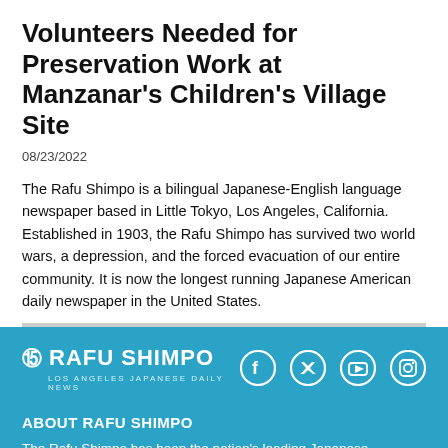Volunteers Needed for Preservation Work at Manzanar's Children's Village Site
08/23/2022
The Rafu Shimpo is a bilingual Japanese-English language newspaper based in Little Tokyo, Los Angeles, California. Established in 1903, the Rafu Shimpo has survived two world wars, a depression, and the forced evacuation of our entire community. It is now the longest running Japanese American daily newspaper in the United States.
RAFU SHIMPO – LOS ANGELES JAPANESE DAILY NEWS
ABOUT RAFU SHIMPO
The Rafu Shimpo has been the nation's leading Japanese American newspaper since its original publication. We are